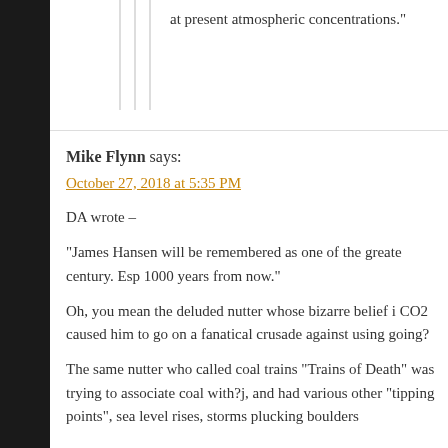at present atmospheric concentrations.”
Mike Flynn says:
October 27, 2018 at 5:35 PM
DA wrote –
“James Hansen will be remembered as one of the greatest century. Esp 1000 years from now.”
Oh, you mean the deluded nutter whose bizarre belief i CO2 caused him to go on a fanatical crusade against using going?
The same nutter who called coal trains “Trains of Death” was trying to associate coal with?j, and had various other “tipping points”, sea level rises, storms plucking boulders